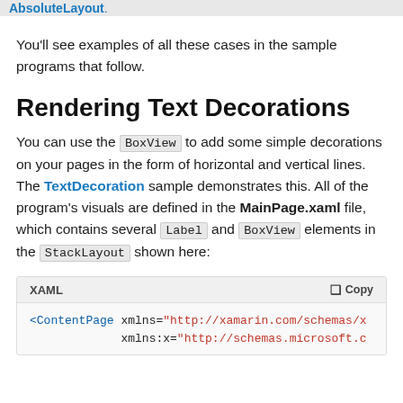AbsoluteLayout.
You'll see examples of all these cases in the sample programs that follow.
Rendering Text Decorations
You can use the BoxView to add some simple decorations on your pages in the form of horizontal and vertical lines. The TextDecoration sample demonstrates this. All of the program's visuals are defined in the MainPage.xaml file, which contains several Label and BoxView elements in the StackLayout shown here:
[Figure (screenshot): Code block showing XAML label with header bar containing 'XAML' and 'Copy' button, and code beginning with <ContentPage xmlns="http://xamarin.com/schemas/..." xmlns:x="http://schemas.microsoft.c..."]